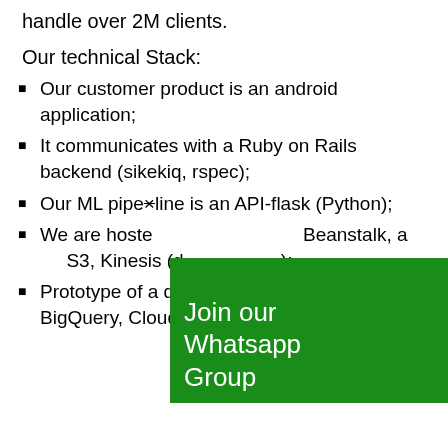handle over 2M clients.
Our technical Stack:
Our customer product is an android application;
It communicates with a Ruby on Rails backend (sikekiq, rspec);
Our ML pipeline is an API-flask (Python);
We are hosted Beanstalk, a S3, Kinesis (d...);
Prototype of a data warehouse on GCP (GCS, BigQuery, Cloud Composer);
[Figure (other): Green banner overlay with text: Join our Whatsapp Group]